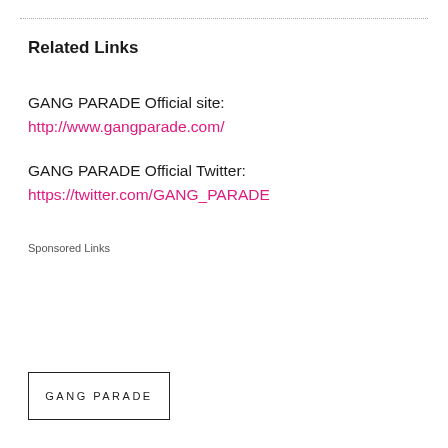Related Links
GANG PARADE Official site:
http://www.gangparade.com/
GANG PARADE Official Twitter:
https://twitter.com/GANG_PARADE
Sponsored Links
[Figure (logo): GANG PARADE logo in a rectangular box with uppercase spaced lettering]